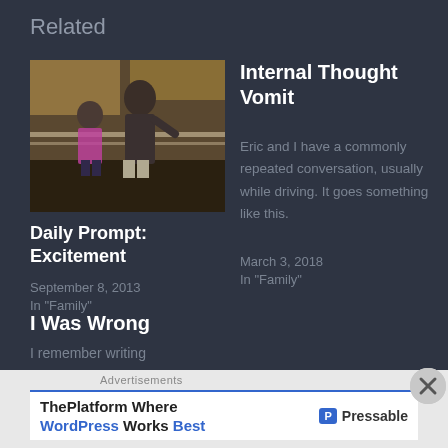Related
[Figure (photo): Photo of two children, a boy and a girl, standing near a railing in an indoor setting with warm lighting.]
Daily Prompt: Excitement
September 8, 2013
In "Family"
Internal Thought Vomit
Eric and I have a commonly repeated conversation, usually while driving. It goes something like this.
March 3, 2018
In "Family"
I Was Wrong
I remember writing
Advertisements
ThePlatform Where WordPress Works Best
[Figure (logo): Pressable logo — P icon with 'Pressable' text]